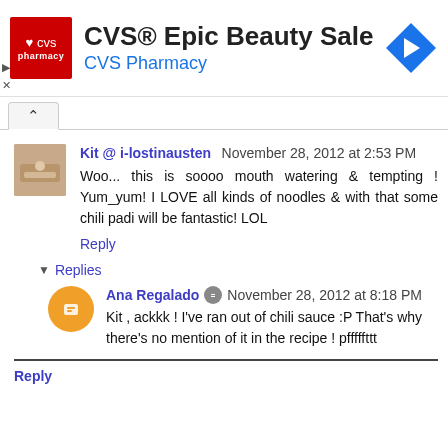[Figure (screenshot): CVS Pharmacy advertisement banner with red CVS logo, title 'CVS® Epic Beauty Sale', subtitle 'CVS Pharmacy' in blue, and a blue navigation arrow icon on the right.]
Kit @ i-lostinausten  November 28, 2012 at 2:53 PM
Woo... this is soooo mouth watering & tempting ! Yum_yum! I LOVE all kinds of noodles & with that some chili padi will be fantastic! LOL
Reply
Replies
Ana Regalado  November 28, 2012 at 8:18 PM
Kit , ackkk ! I've ran out of chili sauce :P That's why there's no mention of it in the recipe ! pfffffttt
Reply